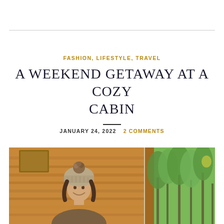FASHION, LIFESTYLE, TRAVEL
A WEEKEND GETAWAY AT A COZY CABIN
JANUARY 24, 2022  2 COMMENTS
[Figure (photo): A woman wearing a knit pom-pom beanie hat smiling inside a wooden log cabin with warm pine walls, with a window showing lush green forest trees outside]